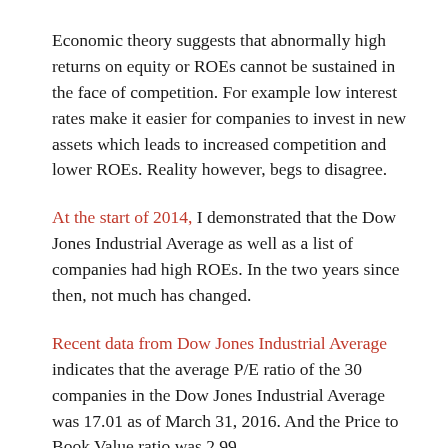Economic theory suggests that abnormally high returns on equity or ROEs cannot be sustained in the face of competition. For example low interest rates make it easier for companies to invest in new assets which leads to increased competition and lower ROEs. Reality however, begs to disagree.
At the start of 2014, I demonstrated that the Dow Jones Industrial Average as well as a list of companies had high ROEs. In the two years since then, not much has changed.
Recent data from Dow Jones Industrial Average indicates that the average P/E ratio of the 30 companies in the Dow Jones Industrial Average was 17.01 as of March 31, 2016. And the Price to Book Value ratio was 2.99.
The average return on equity (ROE) of the DOW